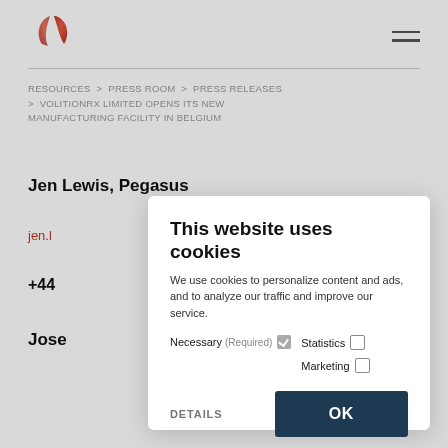[Figure (logo): VolitionRx leaf logo in red/orange gradient]
RESOURCES > PRESS ROOM > PRESS RELEASES > VOLITIONRX LIMITED OPENS ITS NEW MANUFACTURING FACILITY IN BELGIUM
Jen Lewis, Pegasus
jen.l...
+44...
Jose...
This website uses cookies
We use cookies to personalize content and ads, and to analyze our traffic and improve our service.
Necessary (Required) [checked] Statistics [ ] Marketing [ ]
DETAILS OK